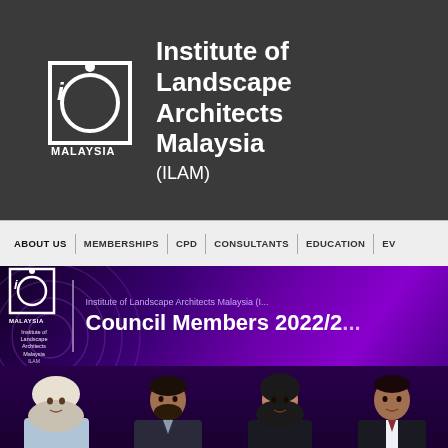[Figure (logo): Institute of Landscape Architects Malaysia (ILAM) logo — white geometric design on dark grey background with text 'Institute of Landscape Architects Malaysia (ILAM)']
ABOUT US | MEMBERSHIPS | CPD | CONSULTANTS | EDUCATION | EV...
[Figure (screenshot): ILAM website banner showing small ILAM logo on left, vertical divider, then text 'Institute of Landscape Architects Malaysia (I...' and large text 'Council Members 2022/2...' on purple/dark gradient background with circular pattern overlay]
[Figure (photo): Four portrait photos of council members at bottom of page on dark purple background — a woman in hijab, a man in dark suit, a woman in black hijab, and a man in black suit]